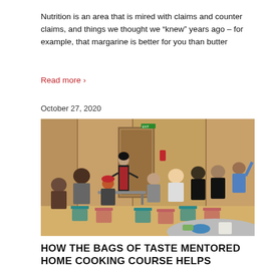Nutrition is an area that is mired with claims and counter claims, and things we thought we “knew” years ago – for example, that margarine is better for you than butter
Read more ›
October 27, 2020
[Figure (photo): A woman in a red apron stands at the front of a community hall presenting to a group of seated adults. The room has wood-panelled walls and is furnished with teal and pink/red chairs and round tables.]
HOW THE BAGS OF TASTE MENTORED HOME COOKING COURSE HELPS VOLUNTEERS AND